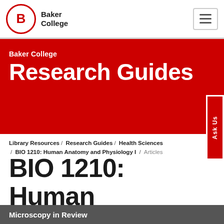Baker College
[Figure (logo): Baker College logo with red circle containing letter B and Baker College text]
Baker College
Research Guides
Library Resources / Research Guides / Health Sciences / BIO 1210: Human Anatomy and Physiology I / Articles
BIO 1210: Human Anatomy and Physiology I
Microscopy in Review